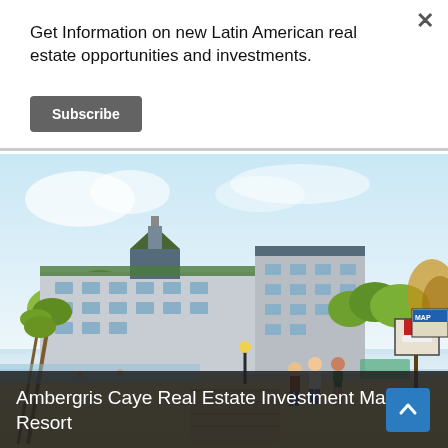Get Information on new Latin American real estate opportunities and investments.
Subscribe
[Figure (illustration): Architectural rendering of Ambergris Caye Marriott Resort — a large multi-story beachfront hotel complex with green roofs, palm trees, and people walking along a waterfront boardwalk under a light blue sky.]
Ambergris Caye Real Estate Investment Marriott Resort